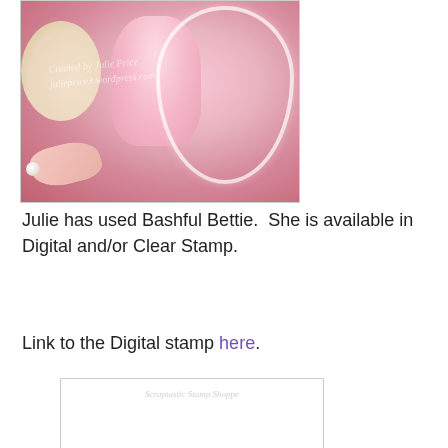[Figure (photo): Decorative craft card featuring an illustrated big-eyed girl doll in pink dress, surrounded by flowers, pearls, ribbon and lace frame on pink background. Watermark: Created by Julie Price / julieprice3.wordpress.com]
Julie has used Bashful Bettie.  She is available in Digital and/or Clear Stamp.
Link to the Digital stamp here.
[Figure (illustration): Line art/coloring page sketch of a big-eyed girl character (Bashful Bettie) with curly hair, holding something, from Scraptastic Stamp Shoppe.]